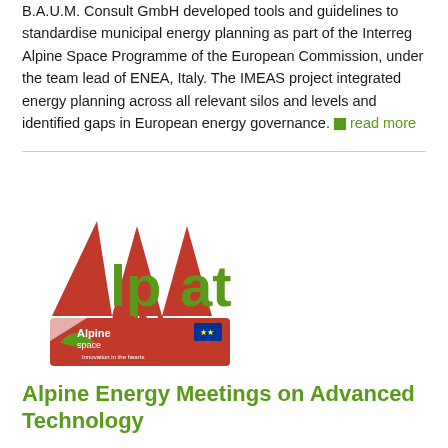B.A.U.M. Consult GmbH developed tools and guidelines to standardise municipal energy planning as part of the Interreg Alpine Space Programme of the European Commission, under the team lead of ENEA, Italy. The IMEAS project integrated energy planning across all relevant silos and levels and identified gaps in European energy governance. ■ read more
[Figure (logo): AlpMatEN logo with red mountain triangle shapes and green text, plus an Alpine Space programme badge below]
Alpine Energy Meetings on Advanced Technology